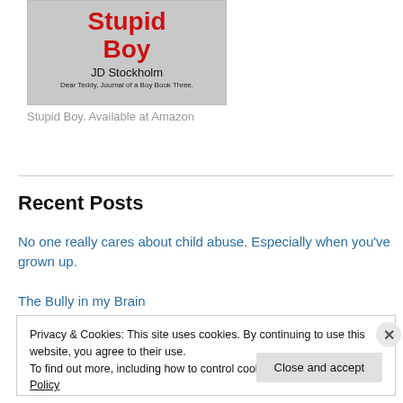[Figure (illustration): Book cover for 'Stupid Boy' by JD Stockholm. Red handwritten-style title 'Stupid Boy', author name 'JD Stockholm', subtitle 'Dear Teddy, Journal of a Boy Book Three.' on a grey/white background.]
Stupid Boy. Available at Amazon
Recent Posts
No one really cares about child abuse. Especially when you've grown up.
The Bully in my Brain
Privacy & Cookies: This site uses cookies. By continuing to use this website, you agree to their use.
To find out more, including how to control cookies, see here: Cookie Policy
Close and accept